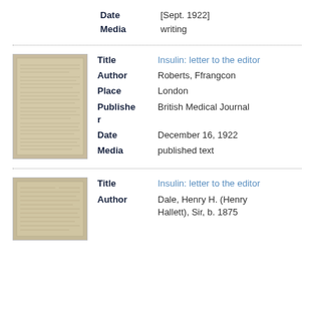Date: [Sept. 1922]
Media: writing
[Figure (photo): Thumbnail image of a newspaper or journal article page, aged/sepia toned]
Title: Insulin: letter to the editor
Author: Roberts, Ffrangcon
Place: London
Publisher: British Medical Journal
Date: December 16, 1922
Media: published text
[Figure (photo): Thumbnail image of a newspaper or journal article page, aged/sepia toned]
Title: Insulin: letter to the editor
Author: Dale, Henry H. (Henry Hallett), Sir, b. 1875